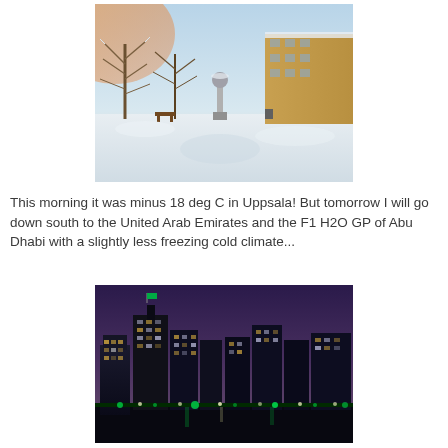[Figure (photo): Winter scene in Uppsala, Sweden. Snow-covered ground and trees, apartment buildings in background, a statue in the center, pinkish-orange sky at dawn or dusk.]
This morning it was minus 18 deg C in Uppsala! But tomorrow I will go down south to the United Arab Emirates and the F1 H2O GP of Abu Dhabi with a slightly less freezing cold climate...
[Figure (photo): Nighttime city skyline of Abu Dhabi, UAE. Illuminated skyscrapers and buildings against a purple-blue twilight sky, with green and white lights at street level.]